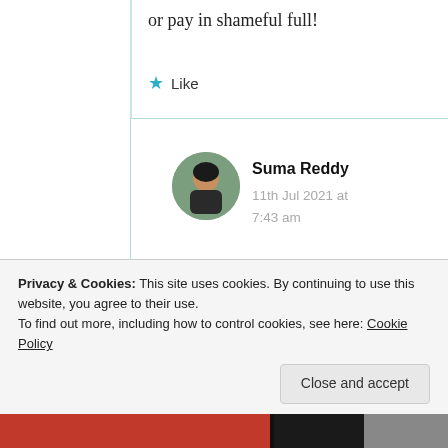or pay in shameful full!
★ Like
[Figure (photo): Circular avatar photo of Suma Reddy, a woman with dark hair]
Suma Reddy
11th Jul 2021 at 7:43 am
You know Prince, the day
I published nothing was
Privacy & Cookies: This site uses cookies. By continuing to use this website, you agree to their use.
To find out more, including how to control cookies, see here: Cookie Policy
Close and accept